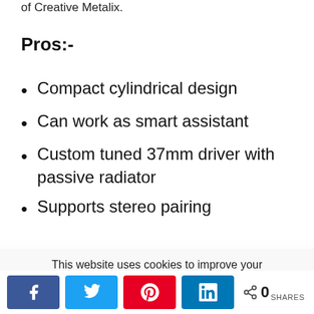of Creative Metalix.
Pros:-
Compact cylindrical design
Can work as smart assistant
Custom tuned 37mm driver with passive radiator
Supports stereo pairing
This website uses cookies to improve your experience. We'll assume you're ok with this, but you